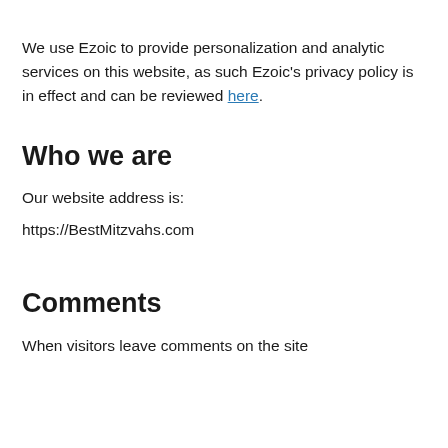We use Ezoic to provide personalization and analytic services on this website, as such Ezoic's privacy policy is in effect and can be reviewed here.
Who we are
Our website address is:
https://BestMitzvahs.com
Comments
When visitors leave comments on the site